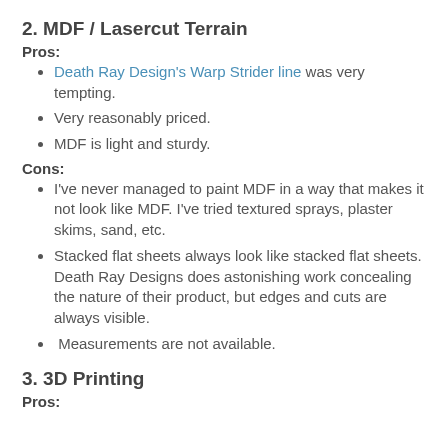2. MDF / Lasercut Terrain
Pros:
Death Ray Design's Warp Strider line was very tempting.
Very reasonably priced.
MDF is light and sturdy.
Cons:
I've never managed to paint MDF in a way that makes it not look like MDF. I've tried textured sprays, plaster skims, sand, etc.
Stacked flat sheets always look like stacked flat sheets. Death Ray Designs does astonishing work concealing the nature of their product, but edges and cuts are always visible.
Measurements are not available.
3. 3D Printing
Pros: